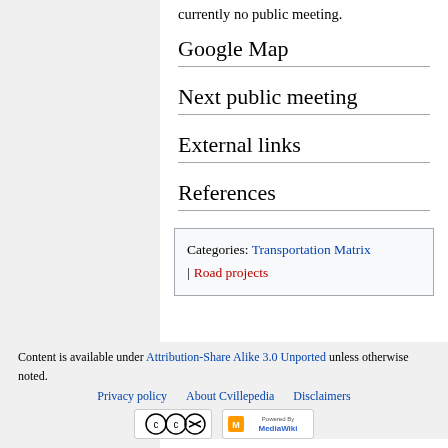currently no public meeting.
Google Map
Next public meeting
External links
References
Categories: Transportation Matrix | Road projects
Content is available under Attribution-Share Alike 3.0 Unported unless otherwise noted. Privacy policy About Cvillepedia Disclaimers